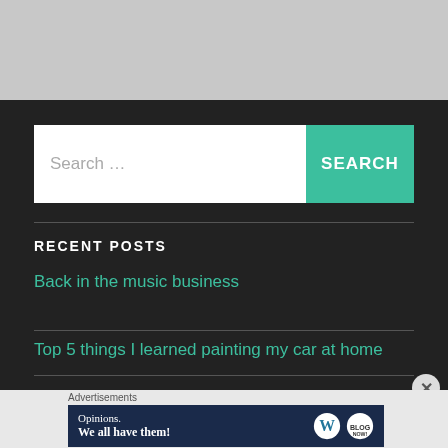[Figure (screenshot): Search bar with text 'Search ...' and a teal SEARCH button]
RECENT POSTS
Back in the music business
Top 5 things I learned painting my car at home
Advertisements
[Figure (screenshot): WordPress advertisement banner: 'Opinions. We all have them!' with WordPress and Now logos]